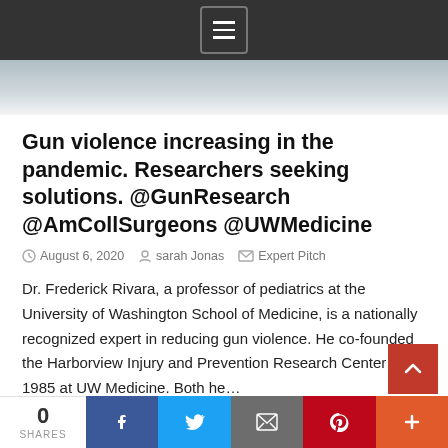[Figure (screenshot): Dark top navigation bar with hamburger/list menu icon]
[Figure (photo): Partial photo strip showing blurred image of a person]
Gun violence increasing in the pandemic. Researchers seeking solutions. @GunResearch @AmCollSurgeons @UWMedicine
August 6, 2020   sarah Jonas   Expert Pitch
Dr. Frederick Rivara, a professor of pediatrics at the University of Washington School of Medicine, is a nationally recognized expert in reducing gun violence. He co-founded the Harborview Injury and Prevention Research Center in 1985 at UW Medicine. Both he…
Gun Violence
0 SHARES | Facebook | Twitter | Email | Pinterest | More